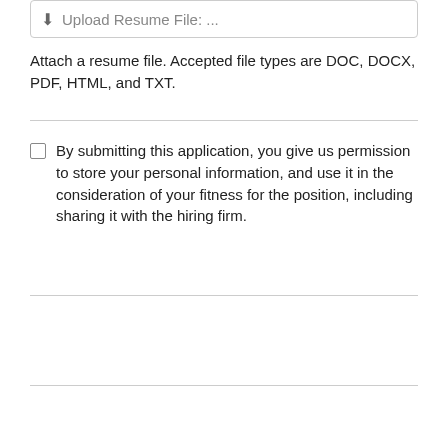Upload Resume File: ...
Attach a resume file. Accepted file types are DOC, DOCX, PDF, HTML, and TXT.
By submitting this application, you give us permission to store your personal information, and use it in the consideration of your fitness for the position, including sharing it with the hiring firm.
Submit Application
See All Jobs